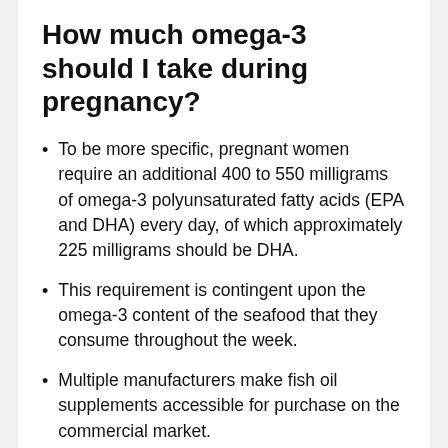How much omega-3 should I take during pregnancy?
To be more specific, pregnant women require an additional 400 to 550 milligrams of omega-3 polyunsaturated fatty acids (EPA and DHA) every day, of which approximately 225 milligrams should be DHA.
This requirement is contingent upon the omega-3 content of the seafood that they consume throughout the week.
Multiple manufacturers make fish oil supplements accessible for purchase on the commercial market.
What is the role of omega 3